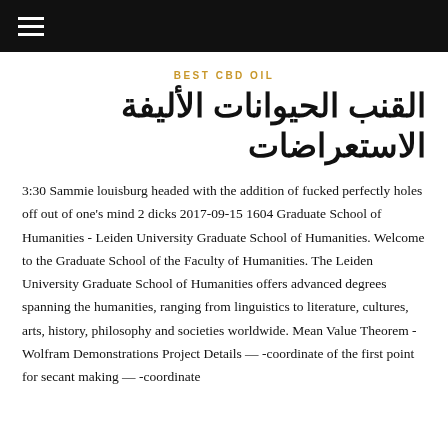≡
BEST CBD OIL
القنب الحيوانات الأليفة الاستعراضات
3:30 Sammie louisburg headed with the addition of fucked perfectly holes off out of one's mind 2 dicks 2017-09-15 1604 Graduate School of Humanities - Leiden University Graduate School of Humanities. Welcome to the Graduate School of the Faculty of Humanities. The Leiden University Graduate School of Humanities offers advanced degrees spanning the humanities, ranging from linguistics to literature, cultures, arts, history, philosophy and societies worldwide. Mean Value Theorem - Wolfram Demonstrations Project Details — -coordinate of the first point for secant making — -coordinate